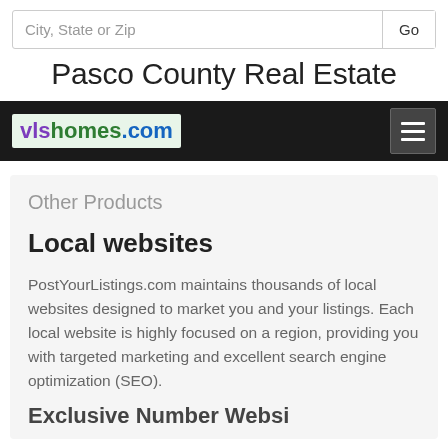City, State or Zip | Go
Pasco County Real Estate
vlshomes.com
Other Products
Local websites
PostYourListings.com maintains thousands of local websites designed to market you and your listings. Each local website is highly focused on a region, providing you with targeted marketing and excellent search engine optimization (SEO).
Exclusive Number Websites